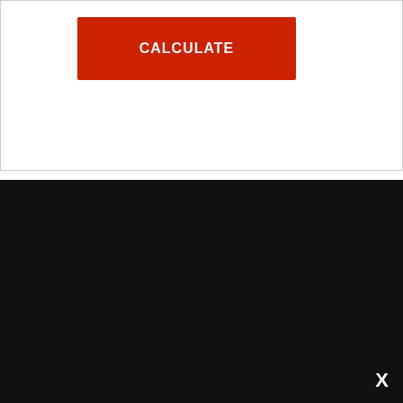[Figure (screenshot): A red CALCULATE button inside a white bordered container]
X
We care about your privacy.
We use cookies to make your experience of our websites better. By using and further navigating this website you accept this. Detailed information about the use of cookies on this website is available by clicking on more information.
Blog
[Figure (screenshot): ACCEPT AND CLOSE red button]
Privacy